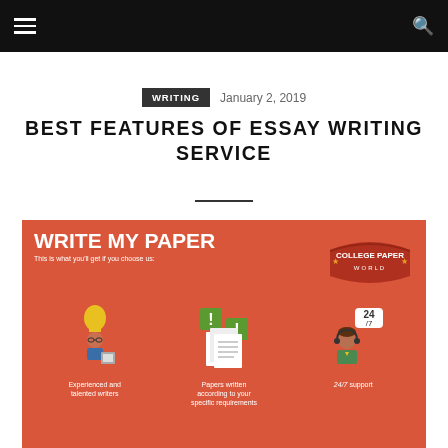Navigation bar with hamburger menu and search icon
WRITING   January 2, 2019
BEST FEATURES OF ESSAY WRITING SERVICE
[Figure (infographic): Write My Paper infographic showing features: Experienced and talented writers, Papers written according to your specific requirements, 24/7 support. College Paper World badge in upper right.]